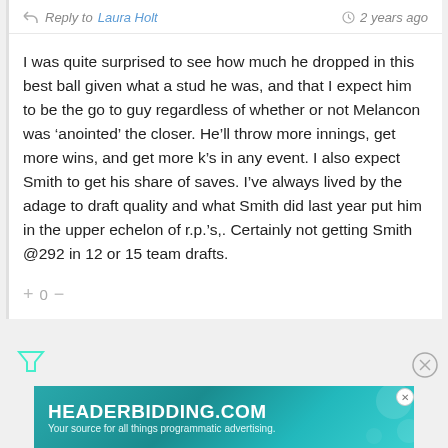Reply to Laura Holt · 2 years ago
I was quite surprised to see how much he dropped in this best ball given what a stud he was, and that I expect him to be the go to guy regardless of whether or not Melancon was ‘anointed’ the closer. He’ll throw more innings, get more wins, and get more k’s in any event. I also expect Smith to get his share of saves. I’ve always lived by the adage to draft quality and what Smith did last year put him in the upper echelon of r.p.’s,. Certainly not getting Smith @292 in 12 or 15 team drafts.
+ 0 −
[Figure (logo): Filter/funnel icon]
[Figure (logo): Close (X) button circle]
[Figure (screenshot): HEADERBIDDING.COM advertisement banner — Your source for all things programmatic advertising.]